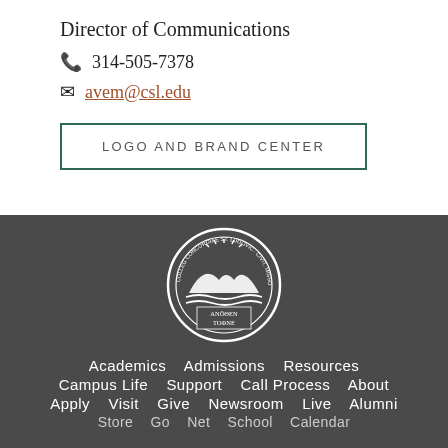Director of Communications
314-505-7378
avem@csl.edu
LOGO AND BRAND CENTER
[Figure (logo): Concordia Seminary St. Louis circular seal with text COLLEG CONCORDIAE ST. LUDOVIC CIVIT. MISSOUR. SIGIL. and ANŌΘEN TOΦNE in center]
Academics   Admissions   Resources   Campus Life   Support   Call Process   About   Apply   Visit   Give   Newsroom   Live   Alumni   Store   Go   Net   School   Calendar